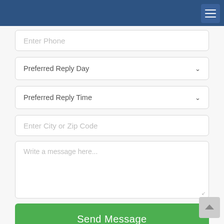[Figure (screenshot): Navigation bar with dark blue background and hamburger menu button in top right corner]
Enter Phone
Preferred Reply Day
Preferred Reply Time
Enter City or Zip Code
Write a message here...
Send Message